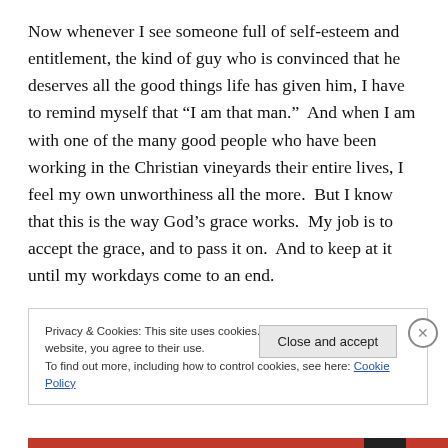Now whenever I see someone full of self-esteem and entitlement, the kind of guy who is convinced that he deserves all the good things life has given him, I have to remind myself that “I am that man.”  And when I am with one of the many good people who have been working in the Christian vineyards their entire lives, I feel my own unworthiness all the more.  But I know that this is the way God’s grace works.  My job is to accept the grace, and to pass it on.  And to keep at it until my workdays come to an end.
Privacy & Cookies: This site uses cookies. By continuing to use this website, you agree to their use.
To find out more, including how to control cookies, see here: Cookie Policy